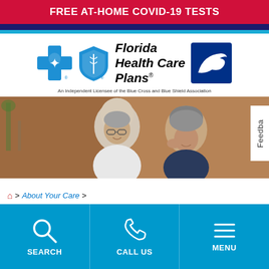FREE AT-HOME COVID-19 TESTS
[Figure (logo): Florida Health Care Plans logo with Blue Cross Blue Shield icons and pelican/seagull logo. Text: Florida Health Care Plans. An Independent Licensee of the Blue Cross and Blue Shield Association.]
[Figure (photo): An elderly couple smiling and looking at something together, with a brick background.]
Feedba
About Your Care
SEARCH | CALL US | MENU